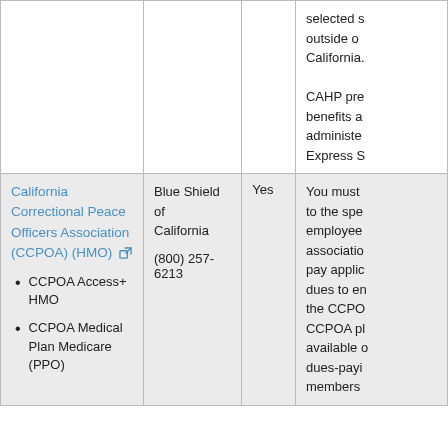| Plan Name | Provider | Preferable? | Notes |
| --- | --- | --- | --- |
|  |  |  | selected s outside o California.

CAHP pre benefits a administe Express S |
| California Correctional Peace Officers Association (CCPOA) (HMO)
• CCPOA Access+ HMO
• CCPOA Medical Plan Medicare (PPO) | Blue Shield of California
(800) 257-6213 | Yes | You must to the spe employee associatio pay applic dues to en the CCPO CCPOA pl available o dues-payi members |